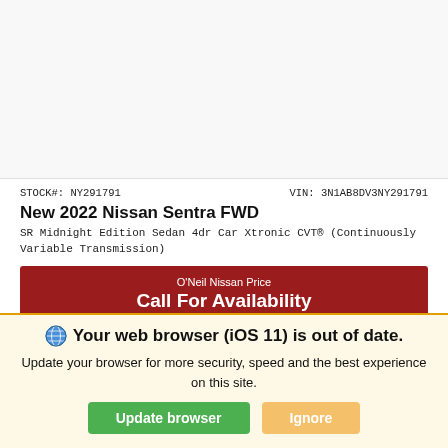[Figure (photo): White/blank area representing a car photo placeholder for 2022 Nissan Sentra FWD]
STOCK#: NY291791    VIN: 3N1AB8DV3NY291791
New 2022 Nissan Sentra FWD
SR Midnight Edition Sedan 4dr Car Xtronic CVT® (Continuously Variable Transmission)
O'Neil Nissan Price
Call For Availability
*First Name    *Last Name
*Email
🌐 Your web browser (iOS 11) is out of date. Update your browser for more security, speed and the best experience on this site.
Update browser    Ignore